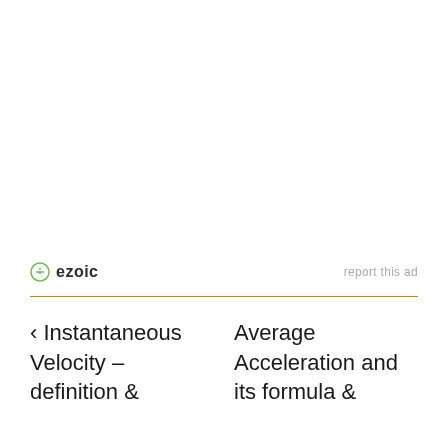[Figure (logo): Ezoic logo with green circle icon and bold text 'ezoic']
report this ad
‹ Instantaneous Velocity – definition &
Average Acceleration and its formula &